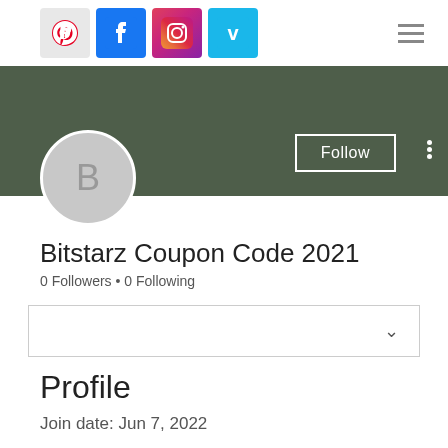[Figure (screenshot): Social media navigation bar with Pinterest, Facebook, Instagram, Vimeo icons and hamburger menu]
[Figure (screenshot): Profile cover banner in dark green/olive color with avatar circle showing letter B, Follow button, and more-options dots]
Bitstarz Coupon Code 2021
0 Followers • 0 Following
[Figure (screenshot): Dropdown/filter box with chevron arrow]
Profile
Join date: Jun 7, 2022